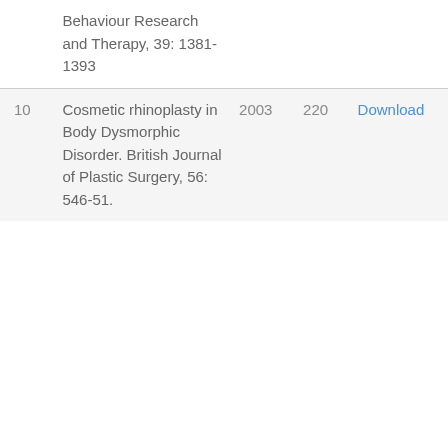| # | Title | Year | Citations |  |
| --- | --- | --- | --- | --- |
|  | Behaviour Research and Therapy, 39: 1381-1393 |  |  |  |
| 10 | Cosmetic rhinoplasty in Body Dysmorphic Disorder. British Journal of Plastic Surgery, 56: 546-51. | 2003 | 220 | Download |